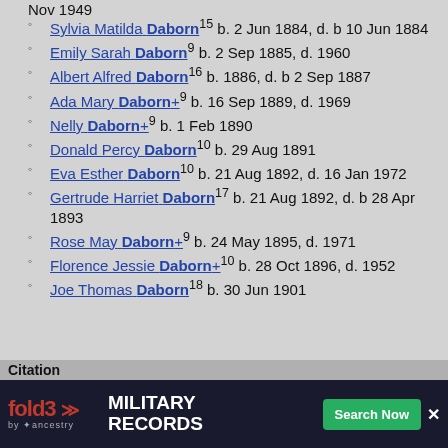Nov 1949 (partial, top of page)
Sylvia Matilda Daborn15 b. 2 Jun 1884, d. b 10 Jun 1884
Emily Sarah Daborn9 b. 2 Sep 1885, d. 1960
Albert Alfred Daborn16 b. 1886, d. b 2 Sep 1887
Ada Mary Daborn+9 b. 16 Sep 1889, d. 1969
Nelly Daborn+9 b. 1 Feb 1890
Donald Percy Daborn10 b. 29 Aug 1891
Eva Esther Daborn10 b. 21 Aug 1892, d. 16 Jan 1972
Gertrude Harriet Daborn17 b. 21 Aug 1892, d. b 28 Apr 1893
Rose May Daborn+9 b. 24 May 1895, d. 1971
Florence Jessie Daborn+10 b. 28 Oct 1896, d. 1952
Joe Thomas Daborn18 b. 30 Jun 1901
Citations
[Figure (screenshot): fold3 by Ancestry advertisement banner for Military Records with Search Now button]